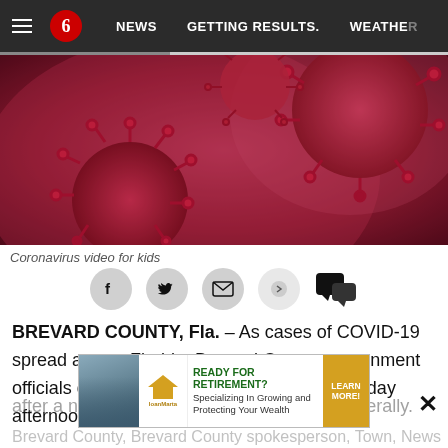NEWS  GETTING RESULTS.  WEATHER
[Figure (photo): Close-up microscopic illustration of coronavirus particles with red spike proteins against a pink/red blurred background]
Coronavirus video for kids
[Figure (infographic): Social sharing icons row: Facebook, Twitter, Email, Share, Comment]
BREVARD COUNTY, Fla. – As cases of COVID-19 spread across Florida, Brevard County government officials declared a state of emergency Saturday afternoon — a day after a national emergency was declared federally.
[Figure (advertisement): Ad banner: READY FOR RETIREMENT? Specializing In Growing and Protecting Your Wealth. LEARN MORE!]
Brevard County, Brevard County spokesperson, News...